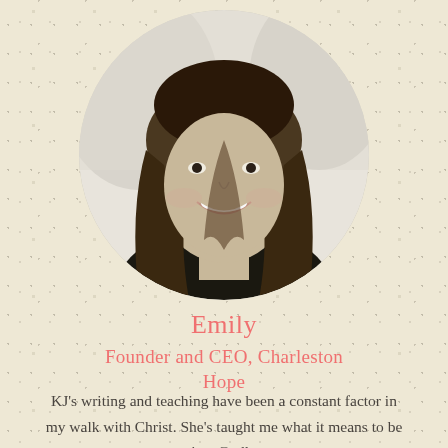[Figure (photo): Circular black-and-white portrait photo of a young woman with long hair, smiling, wearing a black top. The photo is cropped in a circle against a speckled cream/tan textured background.]
Emily
Founder and CEO, Charleston Hope
KJ's writing and teaching have been a constant factor in my walk with Christ. She's taught me what it means to be in a Godly